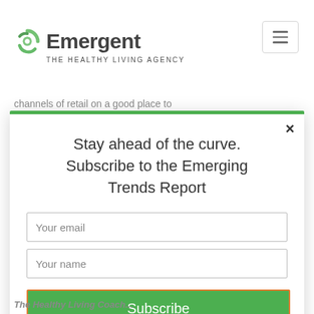[Figure (logo): Emergent – The Healthy Living Agency logo with green swirl icon]
channels of retail on a good place to
[Figure (screenshot): Modal popup with green top border, close button (×), title 'Stay ahead of the curve. Subscribe to the Emerging Trends Report', email input, name input, and green Subscribe button]
The Healthy Living Coach...